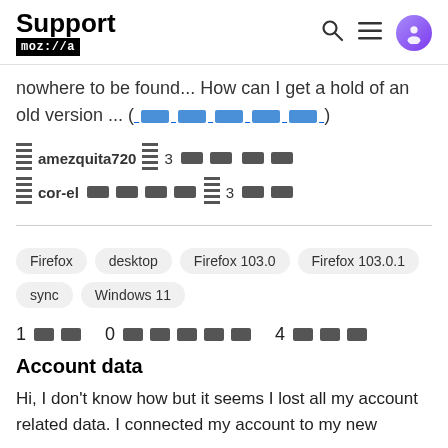Support mozilla// [search] [menu] [user icon]
nowhere to be found... How can I get a hold of an old version ... ([redacted link])
amezquita720 [icon] 3 [redacted] [redacted]
cor-el [redacted] [icon] 3 [redacted]
Firefox   desktop   Firefox 103.0   Firefox 103.0.1   sync   Windows 11
1 [redacted]   0 [redacted]   4 [redacted]
Account data
Hi, I don't know how but it seems I lost all my account related data. I connected my account to my new